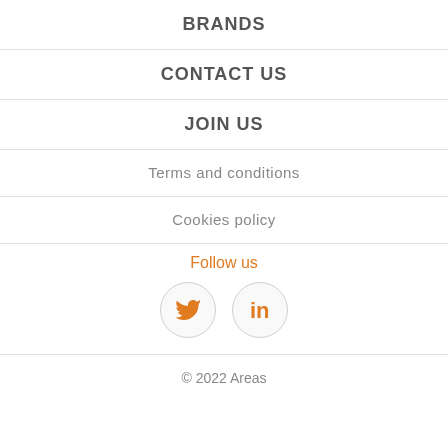BRANDS
CONTACT US
JOIN US
Terms and conditions
Cookies policy
Follow us
[Figure (illustration): Twitter bird icon in orange circle and LinkedIn 'in' icon in orange circle]
© 2022 Areas